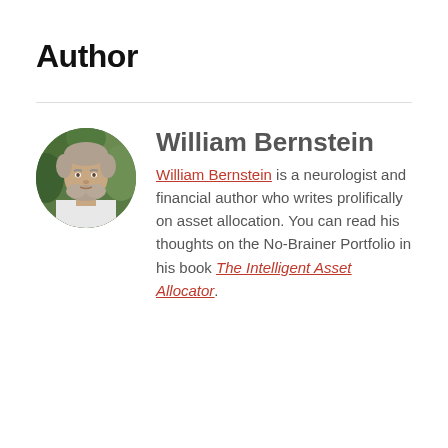Author
[Figure (photo): Circular portrait photo of William Bernstein, a middle-aged man with grey beard and short hair, outdoors with green foliage background.]
William Bernstein
William Bernstein is a neurologist and financial author who writes prolifically on asset allocation. You can read his thoughts on the No-Brainer Portfolio in his book The Intelligent Asset Allocator.